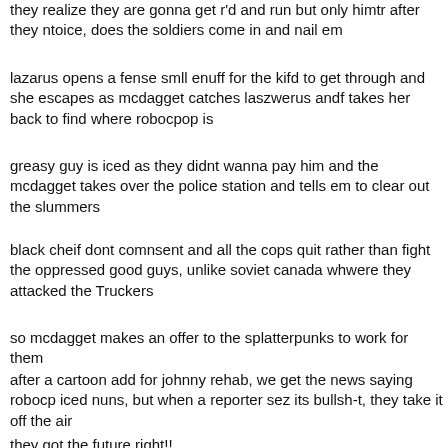they realize they are gonna get r'd and run but only himtr after they ntoice, does the soldiers come in and nail em
lazarus opens a fense smll enuff for the kifd to get through and she escapes as mcdagget catches laszwerus andf takes her back to find where robocpop is
greasy guy is iced as they didnt wanna pay him and the mcdagget takes over the police station and tells em to clear out the slummers
black cheif dont comnsent and all the cops quit rather than fight the oppressed good guys, unlike soviet canada whwere they attacked the Truckers
so mcdagget makes an offer to the splatterpunks to work for them
after a cartoon add for johnny rehab, we get the news saying robocp iced nuns, but when a reporter sez its bullsh-t, they take it off the air
they got the future right!!